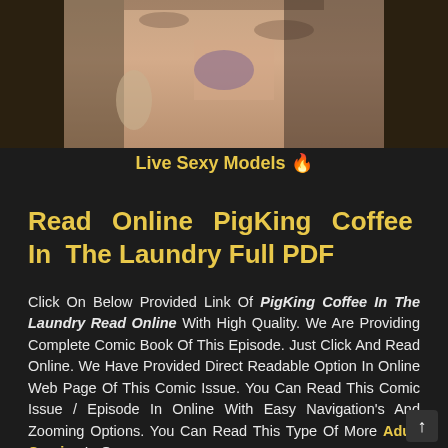[Figure (photo): Partial photo of a person with tattoos, cropped at top showing torso area against a room background with lamp]
Live Sexy Models 🔥
Read Online PigKing Coffee In The Laundry Full PDF
Click On Below Provided Link Of PigKing Coffee In The Laundry Read Online With High Quality. We Are Providing Complete Comic Book Of This Episode. Just Click And Read Online. We Have Provided Direct Readable Option In Online Web Page Of This Comic Issue. You Can Read This Comic Issue / Episode In Online With Easy Navigation's And Zooming Options. You Can Read This Type Of More Adult Comics In Our